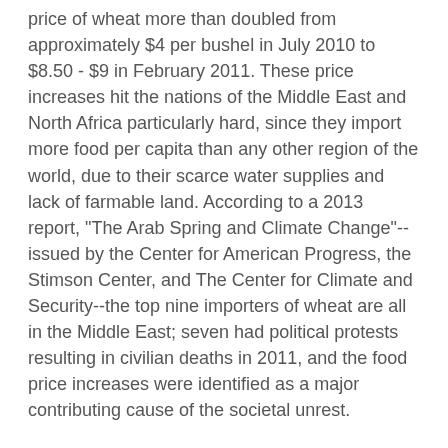price of wheat more than doubled from approximately $4 per bushel in July 2010 to $8.50 - $9 in February 2011. These price increases hit the nations of the Middle East and North Africa particularly hard, since they import more food per capita than any other region of the world, due to their scarce water supplies and lack of farmable land. According to a 2013 report, "The Arab Spring and Climate Change"--issued by the Center for American Progress, the Stimson Center, and The Center for Climate and Security--the top nine importers of wheat are all in the Middle East; seven had political protests resulting in civilian deaths in 2011, and the food price increases were identified as a major contributing cause of the societal unrest.
••••
Unfortunately, a serious shock to the global food system will grow increasingly likely in the next few decades. According to an independent 2015 food shock study by the UK-US Task Force on Extreme Weather and Global Food System Resilience, the odds of an extreme weather food shock capable of reducing the production of corn, soybean, wheat